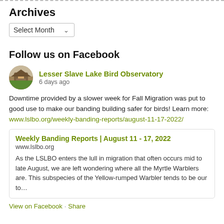Archives
Select Month
Follow us on Facebook
Lesser Slave Lake Bird Observatory
6 days ago
Downtime provided by a slower week for Fall Migration was put to good use to make our banding building safer for birds! Learn more: www.lslbo.org/weekly-banding-reports/august-11-17-2022/
Weekly Banding Reports | August 11 - 17, 2022
www.lslbo.org
As the LSLBO enters the lull in migration that often occurs mid to late August, we are left wondering where all the Myrtle Warblers are. This subspecies of the Yellow-rumped Warbler tends to be our to…
View on Facebook · Share